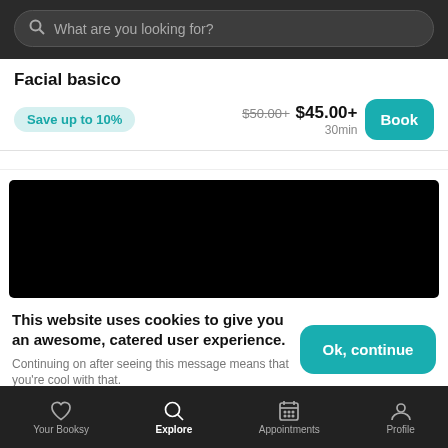What are you looking for?
Facial basico
Save up to 10%
$50.00+  $45.00+  30min
Book
[Figure (photo): Black rectangular image area]
This website uses cookies to give you an awesome, catered user experience.
Continuing on after seeing this message means that you're cool with that.
Ok, continue
Your Booksy   Explore   Appointments   Profile